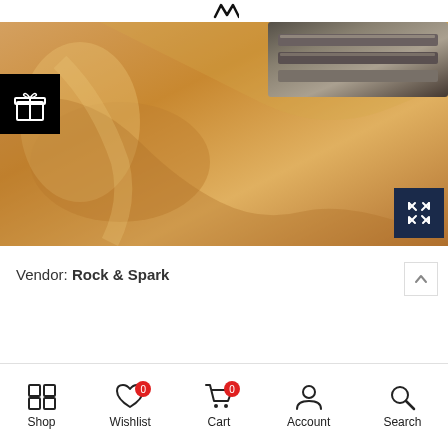[Figure (photo): Close-up product photo of gold/tan silk or satin fabric with a dark brown/grey watch clasp or buckle visible in the upper right area. The fabric has a smooth, lustrous texture with flowing folds. A black square button with a white gift box icon is overlaid on the left side. A dark navy blue square with a white expand/fullscreen icon is overlaid in the bottom right.]
Vendor: Rock & Spark
Shop  Wishlist 0  Cart 0  Account  Search